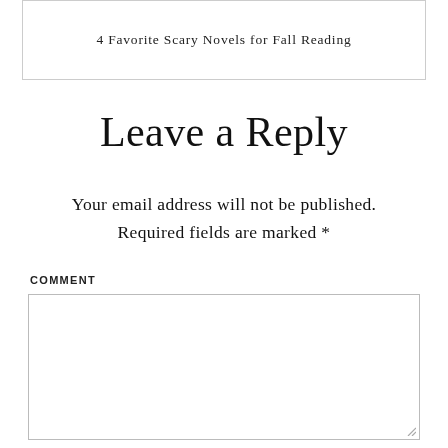4 Favorite Scary Novels for Fall Reading
Leave a Reply
Your email address will not be published. Required fields are marked *
COMMENT